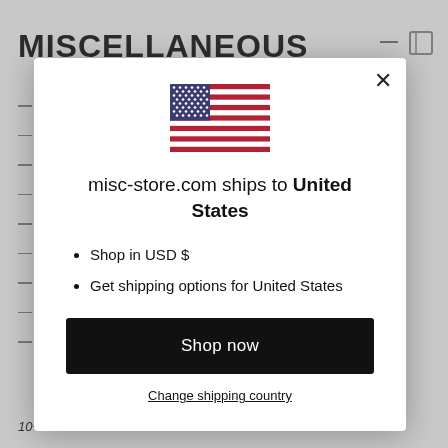MISCELLANEOUS
[Figure (screenshot): A modal dialog box on a website showing a US flag, shipping information for United States, bullet points about USD currency and shipping options, a 'Shop now' button, and a 'Change shipping country' link.]
misc-store.com ships to United States
Shop in USD $
Get shipping options for United States
Shop now
Change shipping country
10+ more